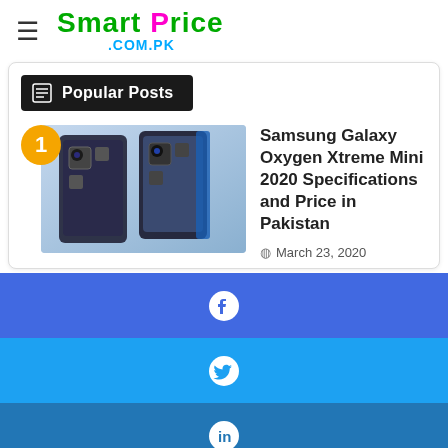Smart Price .com.pk
Popular Posts
[Figure (photo): Samsung Galaxy phone image showing back panel]
Samsung Galaxy Oxygen Xtreme Mini 2020 Specifications and Price in Pakistan
March 23, 2020
[Figure (infographic): Social share bar with Facebook icon (blue)]
[Figure (infographic): Social share bar with Twitter icon (light blue)]
[Figure (infographic): Social share bar with LinkedIn icon (dark blue)]
[Figure (infographic): Social share bar with WhatsApp icon (green)]
[Figure (infographic): Social share bar with Telegram icon (blue)]
[Figure (infographic): Social share bar with Phone icon (purple)]